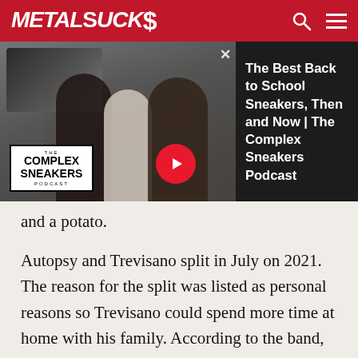MetalSucks
[Figure (screenshot): Advertisement banner for 'The Complex Sneakers Podcast' showing three men and sneaker imagery, with text 'The Best Back to School Sneakers, Then and Now | The Complex Sneakers Podcast' on the right side and a red play button]
and a potato.
Autopsy and Trevisano split in July on 2021. The reason for the split was listed as personal reasons so Trevisano could spend more time at home with his family. According to the band, the split was on good terms, and there was certainly no ill will between the two parties.